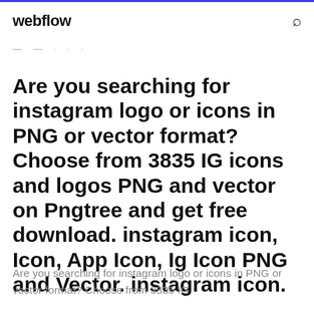webflow
— — · · ·
Are you searching for instagram logo or icons in PNG or vector format? Choose from 3835 IG icons and logos PNG and vector on Pngtree and get free download. instagram icon, Icon, App Icon, Ig Icon PNG and Vector. instagram icon.
Are you searching for instagram logo or icons in PNG or vector format? Choose from 3835 IG